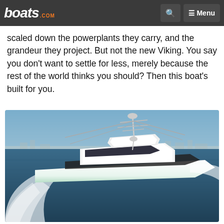boats.com — navigation header with search and menu buttons
scaled down the powerplants they carry, and the grandeur they project. But not the new Viking. You say you don't want to settle for less, merely because the rest of the world thinks you should? Then this boat's built for you.
[Figure (photo): A large white Viking sportfishing yacht with a tall tower and outriggers speeding through open blue water with a city skyline visible in the background.]